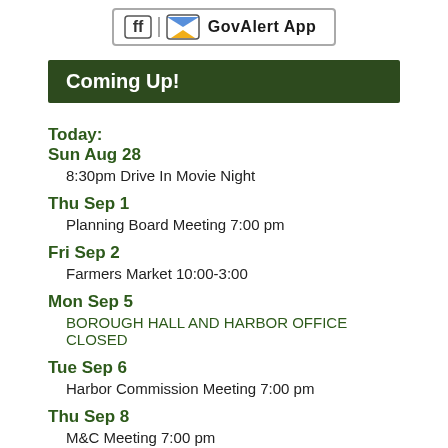[Figure (logo): GovAlert App logo with social media icon and envelope icon]
Coming Up!
Today:
Sun Aug 28
8:30pm Drive In Movie Night
Thu Sep 1
Planning Board Meeting 7:00 pm
Fri Sep 2
Farmers Market 10:00-3:00
Mon Sep 5
BOROUGH HALL AND HARBOR OFFICE CLOSED
Tue Sep 6
Harbor Commission Meeting 7:00 pm
Thu Sep 8
M&C Meeting 7:00 pm
Fri Sep 9
Farmers Market 10:00-3:00